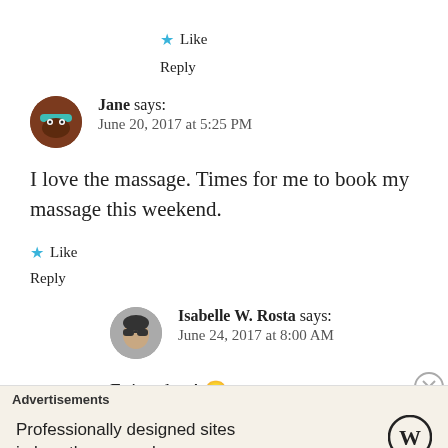★ Like
Reply
Jane says:
June 20, 2017 at 5:25 PM
I love the massage. Times for me to book my massage this weekend.
★ Like
Reply
Isabelle W. Rosta says:
June 24, 2017 at 8:00 AM
Enjoy dear! 😄
Advertisements
Professionally designed sites in less than a week